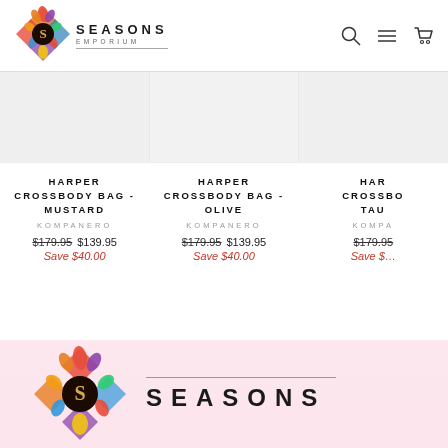[Figure (logo): Seasons Emporium logo with colorful floral/leaf motif and S monogram]
SEASONS EMPORIUM
[Figure (other): Navigation icons: search, menu, cart]
HARPER CROSSBODY BAG - MUSTARD | KOMPANERO | $179.95 $139.95 | Save $40.00
HARPER CROSSBODY BAG - OLIVE | KOMPANERO | $179.95 $139.95 | Save $40.00
HARPER CROSSBODY BAG - TAUPE | KOMPANERO | $179.95 | Save $...
[Figure (logo): Seasons Emporium large footer logo with colorful floral motif]